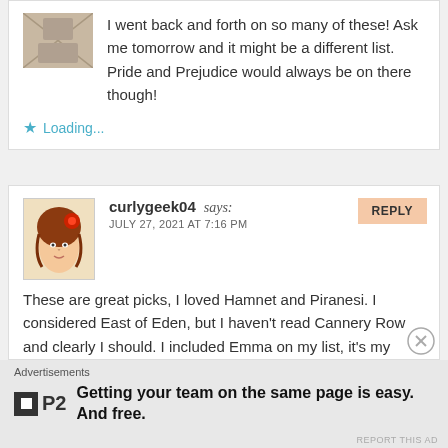I went back and forth on so many of these! Ask me tomorrow and it might be a different list. Pride and Prejudice would always be on there though!
Loading...
REPLY
[Figure (illustration): Avatar of curlygeek04 showing a stylized illustration of a woman with red flower in hair]
curlygeek04 says:
JULY 27, 2021 AT 7:16 PM
These are great picks, I loved Hamnet and Piranesi. I considered East of Eden, but I haven't read Cannery Row and clearly I should. I included Emma on my list, it's my favorite Austen.
Loading...
Advertisements
Getting your team on the same page is easy. And free.